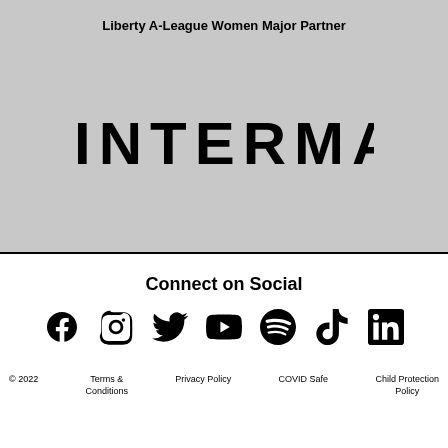Liberty A-League Women Major Partner
[Figure (logo): INTERMAIN logo in bold black uppercase letters on grey background]
Connect on Social
[Figure (infographic): Social media icons: Facebook, Instagram, Twitter, YouTube, Spotify, TikTok, LinkedIn]
© 2022   Terms & Conditions   Privacy Policy   COVID Safe   Child Protection Policy